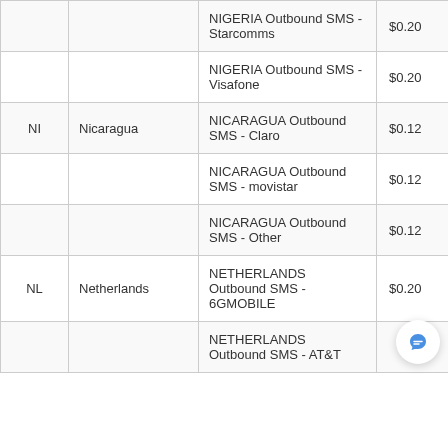|  |  | Description | Price |
| --- | --- | --- | --- |
|  |  | NIGERIA Outbound SMS - Starcomms | $0.20 |
|  |  | NIGERIA Outbound SMS - Visafone | $0.20 |
| NI | Nicaragua | NICARAGUA Outbound SMS - Claro | $0.12 |
|  |  | NICARAGUA Outbound SMS - movistar | $0.12 |
|  |  | NICARAGUA Outbound SMS - Other | $0.12 |
| NL | Netherlands | NETHERLANDS Outbound SMS - 6GMOBILE | $0.20 |
|  |  | NETHERLANDS Outbound SMS - AT&T |  |